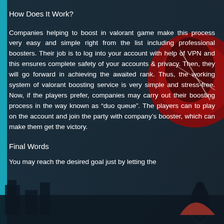How Does It Work?
Companies helping to boost in valorant game make this process very easy and simple right from the list including professional boosters. Their job is to log into your account with help of VPN and this ensures complete safety of your accounts & privacy. Then, they will go forward in achieving the awaited rank. Thus, the working system of valorant boosting service is very simple and stress-free. Now, if the players prefer, companies may carry out their boosting process in the way known as “duo queue”. The players can to play on the account and join the party with company’s booster, which can make them get the victory.
Final Words
You may reach the desired goal just by letting the